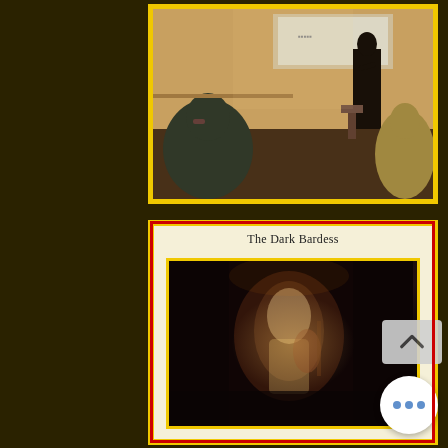[Figure (photo): A person speaking at a podium or lectern in front of a small audience in an indoor setting, viewed from behind the audience. A projection screen is visible in the background.]
[Figure (photo): A book cover titled 'The Dark Bardess' showing a blurry dark image of a figure, likely a decorative or artistic cover.]